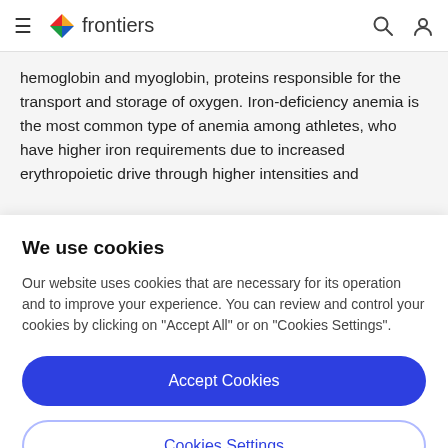frontiers
hemoglobin and myoglobin, proteins responsible for the transport and storage of oxygen. Iron-deficiency anemia is the most common type of anemia among athletes, who have higher iron requirements due to increased erythropoietic drive through higher intensities and
We use cookies
Our website uses cookies that are necessary for its operation and to improve your experience. You can review and control your cookies by clicking on "Accept All" or on "Cookies Settings".
Accept Cookies
Cookies Settings